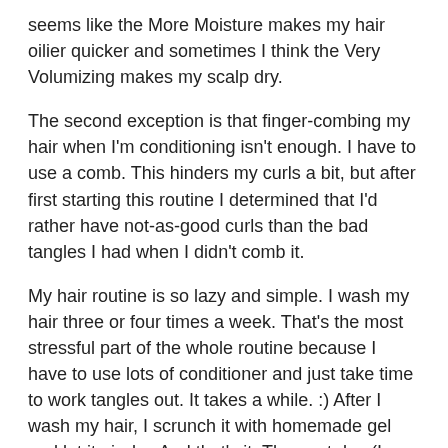seems like the More Moisture makes my hair oilier quicker and sometimes I think the Very Volumizing makes my scalp dry.
The second exception is that finger-combing my hair when I'm conditioning isn't enough. I have to use a comb. This hinders my curls a bit, but after first starting this routine I determined that I'd rather have not-as-good curls than the bad tangles I had when I didn't comb it.
My hair routine is so lazy and simple. I wash my hair three or four times a week. That's the most stressful part of the whole routine because I have to use lots of conditioner and just take time to work tangles out. It takes a while. :) After I wash my hair, I scrunch it with homemade gel and let it air dry. And that's it. The next day (I usually wash my hair in the evening), I pull it back on the sides with bobby pins to keep it out of my face, and it will look okay for the rest of the day. On the second morning after washing it, it's still just as curly but looks a bit greasy.
I tried two homemade gel recipes. The first was plain